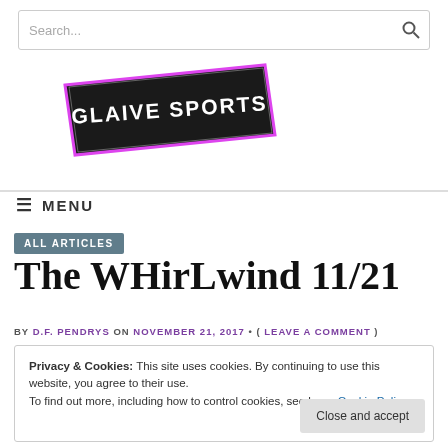Search...
[Figure (logo): Glaive Sports logo — stylized text 'GLAIVE SPORTS' in white block letters on a dark background, tilted/skewed, with pink/purple neon glow outline on a banner shape]
MENU
ALL ARTICLES
The WHirLwind 11/21
BY D.F. PENDRYS ON NOVEMBER 21, 2017 • ( LEAVE A COMMENT )
Privacy & Cookies: This site uses cookies. By continuing to use this website, you agree to their use.
To find out more, including how to control cookies, see here: Cookie Policy
Close and accept